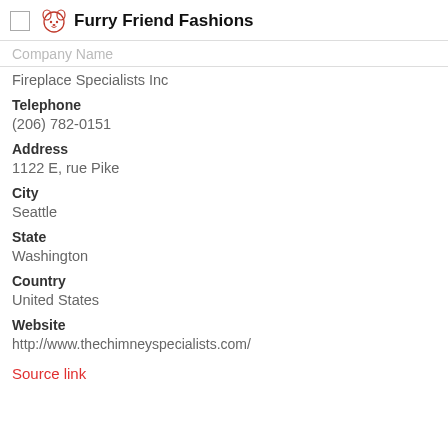Furry Friend Fashions
Company Name
Fireplace Specialists Inc
Telephone
(206) 782-0151
Address
1122 E, rue Pike
City
Seattle
State
Washington
Country
United States
Website
http://www.thechimneyspecialists.com/
Source link